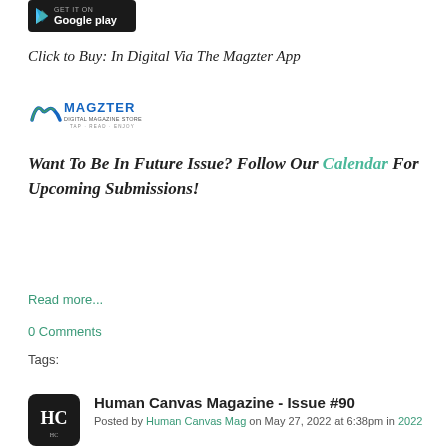[Figure (logo): Google Play store badge button]
Click to Buy: In Digital Via The Magzter App
[Figure (logo): Magzter Digital Magazine Store logo]
Want To Be In Future Issue? Follow Our Calendar For Upcoming Submissions!
Read more...
0 Comments
Tags:
[Figure (logo): Human Canvas Magazine HC icon]
Human Canvas Magazine - Issue #90
Posted by Human Canvas Mag on May 27, 2022 at 6:38pm in 2022